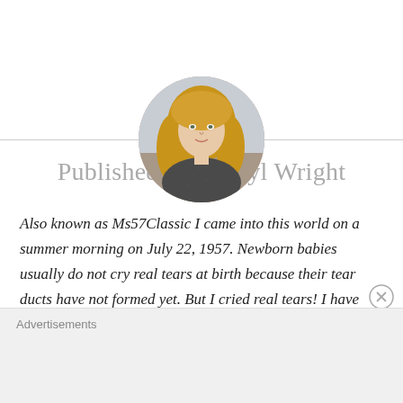[Figure (photo): Circular portrait photo of a woman with blonde/reddish hair wearing a dark jacket, with a horizontal divider line behind the circle]
Published by Cheryl Wright
Also known as Ms57Classic I came into this world on a summer morning on July 22, 1957. Newborn babies usually do not cry real tears at birth because their tear ducts have not formed yet. But I cried real tears! I have been through many things in my life and have dealt with a multitude of
Advertisements